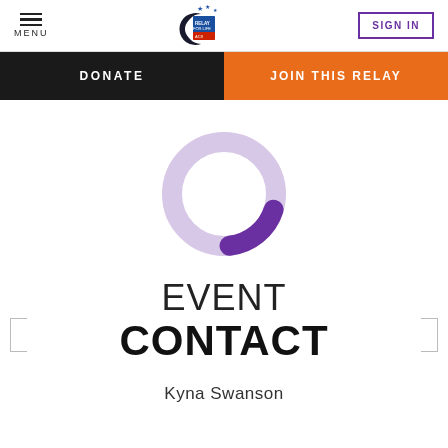MENU | Relay For Life | SIGN IN
DONATE
JOIN THIS RELAY
[Figure (donut-chart): A donut/ring chart with light purple background ring and a dark purple arc filling approximately 15-20% of the top-right portion of the ring, indicating a small progress percentage.]
EVENT CONTACT
Kyna Swanson